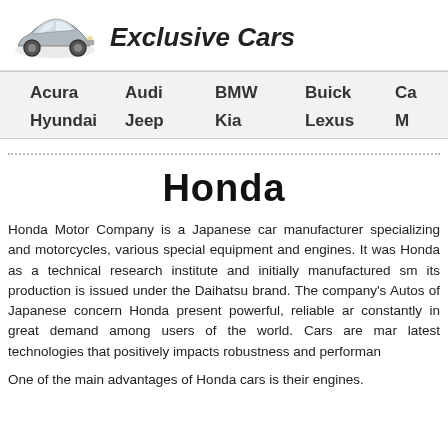Exclusive Cars
Acura   Audi   BMW   Buick   Ca...
Hyundai   Jeep   Kia   Lexus   M...
Honda
Honda Motor Company is a Japanese car manufacturer specializing and motorcycles, various special equipment and engines. It was Honda as a technical research institute and initially manufactured sm its production is issued under the Daihatsu brand. The company's Autos of Japanese concern Honda present powerful, reliable ar constantly in great demand among users of the world. Cars are mar latest technologies that positively impacts robustness and performar
One of the main advantages of Honda cars is their engines.